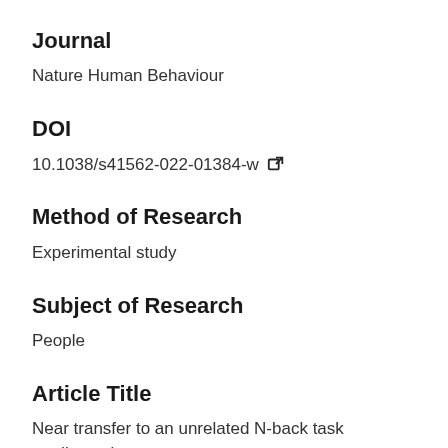Journal
Nature Human Behaviour
DOI
10.1038/s41562-022-01384-w [external link icon]
Method of Research
Experimental study
Subject of Research
People
Article Title
Near transfer to an unrelated N-back task mediates the effect of N-back working memory training on matrix